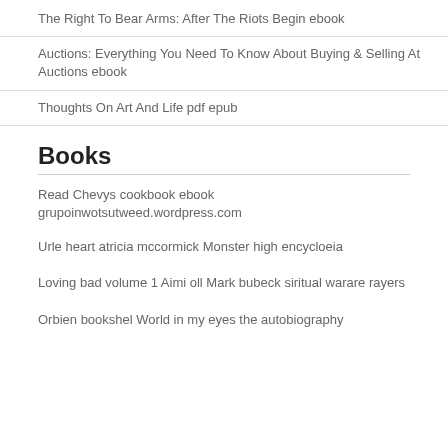The Right To Bear Arms: After The Riots Begin ebook
Auctions: Everything You Need To Know About Buying & Selling At Auctions ebook
Thoughts On Art And Life pdf epub
Books
Read Chevys cookbook ebook grupoinwotsutweed.wordpress.com
Urle heart atricia mccormick Monster high encycloeia
Loving bad volume 1 Aimi oll Mark bubeck siritual warare rayers
Orbien bookshel World in my eyes the autobiography